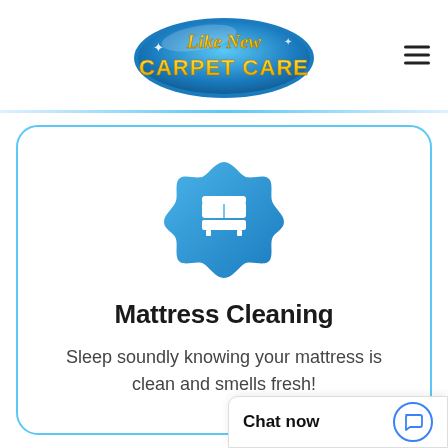[Figure (logo): Like New Carpet Care logo — blue oval shape with yellow/gold text 'Like New' in script and 'CARPET CARE' in bold yellow block letters, blue background oval]
[Figure (illustration): Blue star/badge shape icon with white mattress/bed icon in the center]
Mattress Cleaning
Sleep soundly knowing your mattress is clean and smells fresh!
Chat now